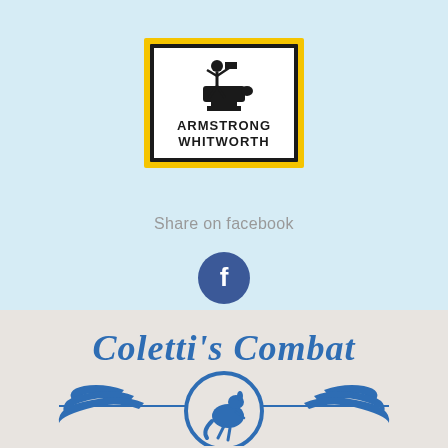[Figure (logo): Armstrong Whitworth logo: blacksmith/anvil figure above text ARMSTRONG WHITWORTH, black border inside yellow border, white background]
Share on facebook
[Figure (logo): Facebook icon: dark navy-blue circle with white lowercase f letterform]
[Figure (logo): Coletti's Combat logo: blue cursive text 'Coletti's Combat' above a winged kangaroo emblem with spread wings and circle]